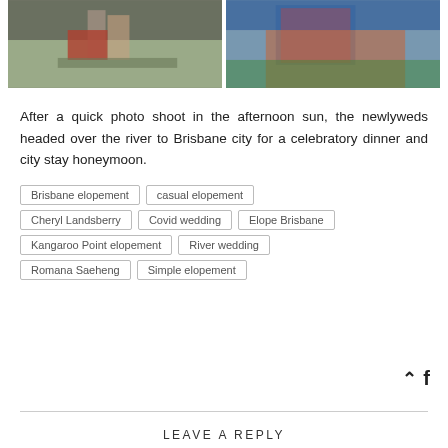[Figure (photo): Two photos side by side: left shows a couple's feet and lower bodies near a river with the woman in a red dress; right shows a couple embracing, man in plaid shirt and woman in orange dress]
After a quick photo shoot in the afternoon sun, the newlyweds headed over the river to Brisbane city for a celebratory dinner and city stay honeymoon.
Brisbane elopement
casual elopement
Cheryl Landsberry
Covid wedding
Elope Brisbane
Kangaroo Point elopement
River wedding
Romana Saeheng
Simple elopement
LEAVE A REPLY